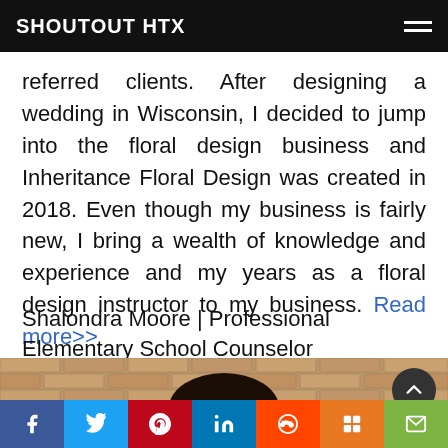SHOUTOUT HTX
referred clients. After designing a wedding in Wisconsin, I decided to jump into the floral design business and Inheritance Floral Design was created in 2018. Even though my business is fairly new, I bring a wealth of knowledge and experience and my years as a floral design instructor to my business. Read more>>
Shalondra Moore | Professional Elementary School Counselor
[Figure (photo): Partial photo of Shalondra Moore against a brick wall background, showing top of head with dark hair]
Social share buttons: Facebook, Twitter, Pinterest, LinkedIn, Reddit, Mix, Email